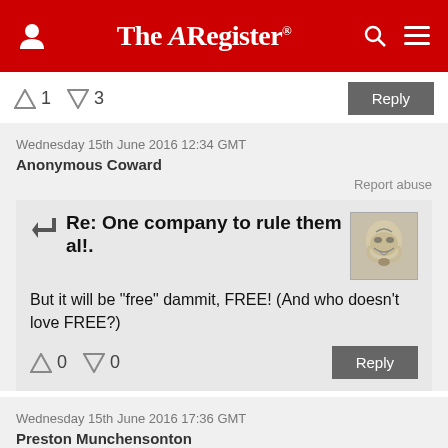The Register
↑1  ↓3   Reply
Wednesday 15th June 2016 12:34 GMT
Anonymous Coward
Report abuse
Re: One company to rule them al!.
But it will be "free" dammit, FREE! (And who doesn't love FREE?)
↑0  ↓0   Reply
Wednesday 15th June 2016 17:36 GMT
Preston Munchensonton
Report abuse
Re: One company to rule them al!.
Soon they'll only be one website left on the internet